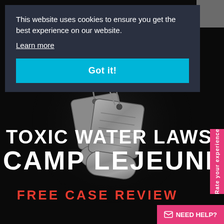[Figure (screenshot): Dark background with metallic military dog tags centered, serving as hero image for Camp Lejeune toxic water lawsuit website]
This website uses cookies to ensure you get the best experience on our website.
Learn more
Got it!
TOXIC WATER LAWSUIT
CAMP LEJEUNE
FREE CASE REVIEW
Rate your experience
NEED HELP?